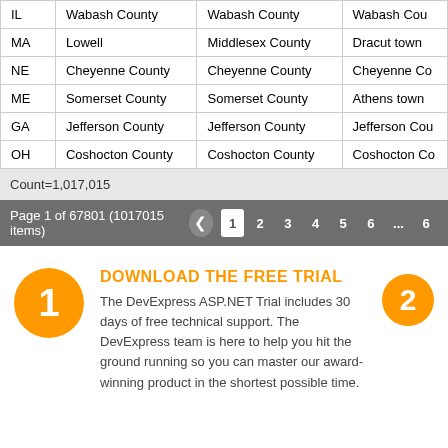|  |  |  |  |
| --- | --- | --- | --- |
| IL | Wabash County | Wabash County | Wabash Cou… |
| MA | Lowell | Middlesex County | Dracut town |
| NE | Cheyenne County | Cheyenne County | Cheyenne Co… |
| ME | Somerset County | Somerset County | Athens town |
| GA | Jefferson County | Jefferson County | Jefferson Cou… |
| OH | Coshocton County | Coshocton County | Coshocton Co… |
Count=1,017,015
Page 1 of 67801 (1017015 items)  1  2  3  4  5  6  ...  6
DOWNLOAD THE FREE TRIAL
The DevExpress ASP.NET Trial includes 30 days of free technical support. The DevExpress team is here to help you hit the ground running so you can master our award-winning product in the shortest possible time.